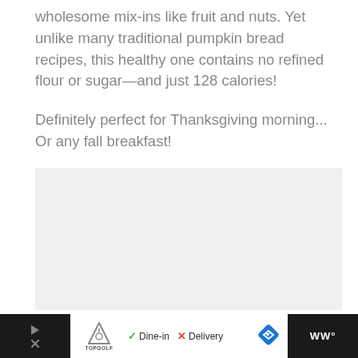wholesome mix-ins like fruit and nuts. Yet unlike many traditional pumpkin bread recipes, this healthy one contains no refined flour or sugar—and just 128 calories!
Definitely perfect for Thanksgiving morning... Or any fall breakfast!
[Figure (other): Light gray rectangular placeholder area for an image]
Advertisement footer bar with TopGolf logo, Dine-in, Delivery options and navigation icons